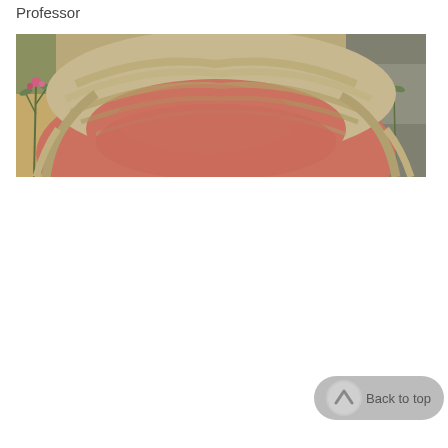Professor
[Figure (photo): Close-up photograph of a person's head from above, showing thinning blond/grey hair, a reddish forehead, with flowering plants and rocky ground visible in the background.]
Back to top